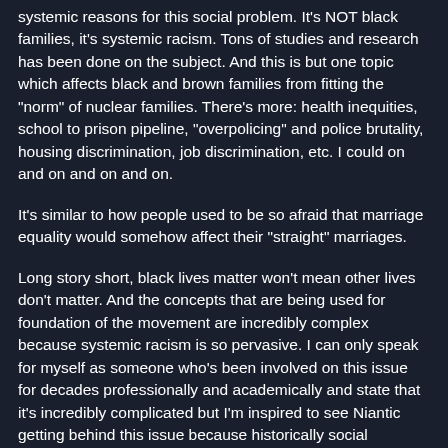systemic reasons for this social problem. It's NOT black families, it's systemic racism. Tons of studies and research has been done on the subject. And this is but one topic which affects black and brown families from fitting the "norm" of nuclear families. There's more: health inequities, school to prison pipeline, "overpolicing" and police brutality, housing discrimination, job discrimination, etc. I could on and on and on and on.
It's similar to how people used to be so afraid that marriage equality would somehow affect their "straight" marriages.
Long story short, black lives matter won't mean other lives don't matter. And the concepts that are being used for foundation of the movement are incredibly complex because systemic racism is so pervasive. I can only speak for myself as someone who's been involved on this issue for decades professionally and academically and state that it's incredibly complicated but I'm inspired to see Niantic getting behind this issue because historically social movements and social change has been viewed as radical and scary. We truly are the change we hope to see.